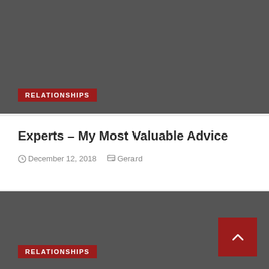[Figure (photo): Dark gray image block at top of page with RELATIONSHIPS category tag overlay]
RELATIONSHIPS
Experts – My Most Valuable Advice
December 12, 2018   Gerard
[Figure (photo): Dark gray image block at bottom of page with RELATIONSHIPS category tag and scroll-to-top button]
RELATIONSHIPS